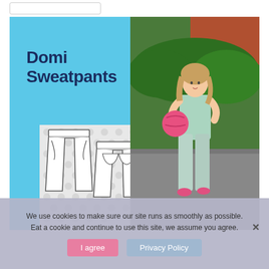[Figure (illustration): Blue banner with 'Domi Sweatpants' text on the left, a sewing pattern schematic illustration at bottom left, and a photo of a young girl holding a pink ball wearing mint sweatpants on the right side.]
We use cookies to make sure our site runs as smoothly as possible. Eat a cookie and continue to use this site, we assume you agree.
I agree
Privacy Policy